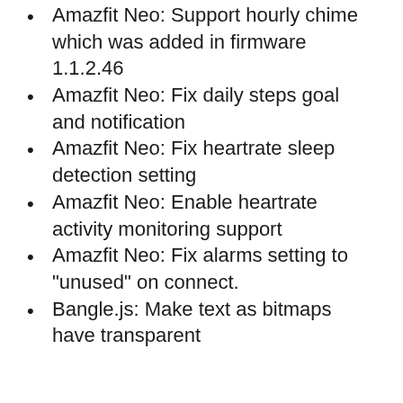Amazfit Neo: Support hourly chime which was added in firmware 1.1.2.46
Amazfit Neo: Fix daily steps goal and notification
Amazfit Neo: Fix heartrate sleep detection setting
Amazfit Neo: Enable heartrate activity monitoring support
Amazfit Neo: Fix alarms setting to "unused" on connect.
Bangle.js: Make text as bitmaps have transparent